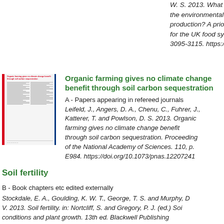W. S. 2013. What do we need to know to change the environmental sustainability of agricultural production? A prioritisation of knowledge needs for the UK food system. Sustainability. 5 (7), pp 3095-3115. https://doi.org/10.3390/su50730952
[Figure (other): Thumbnail image of a journal article titled 'Organic farming gives no climate change benefit through soil carbon sequestration' with red and blue side borders]
Organic farming gives no climate change benefit through soil carbon sequestration
A - Papers appearing in refereed journals
Leifeld, J., Angers, D. A., Chenu, C., Fuhrer, J., Katterer, T. and Powlson, D. S. 2013. Organic farming gives no climate change benefit through soil carbon sequestration. Proceedings of the National Academy of Sciences. 110, p. E984. https://doi.org/10.1073/pnas.12207241
Soil fertility
B - Book chapters etc edited externally
Stockdale, E. A., Goulding, K. W. T., George, T. S. and Murphy, D. V. 2013. Soil fertility. in: Nortcliff, S. and Gregory, P. J. (ed.) Soil conditions and plant growth. 13th ed. Blackwell Publishing